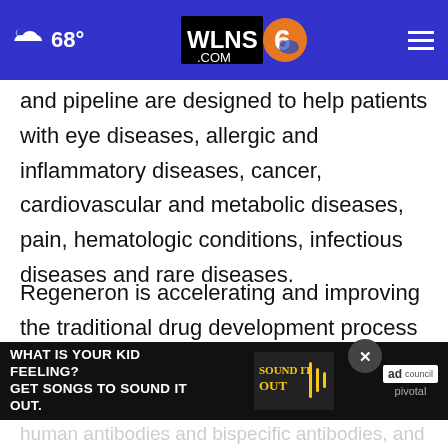68° WLNS6.COM
and pipeline are designed to help patients with eye diseases, allergic and inflammatory diseases, cancer, cardiovascular and metabolic diseases, pain, hematologic conditions, infectious diseases and rare diseases.
Regeneron is accelerating and improving the traditional drug development process through our proprietary VelociSuite technologies, such as VelocImmune, which uses unique genetically humanized mice to produce optimized fully human antibodies and bispecific antibodies, and
[Figure (screenshot): Advertisement banner: WHAT IS YOUR KID FEELING? GET SONGS TO SOUND IT OUT. with Sound It Out and Ad Council / pivotal logos]